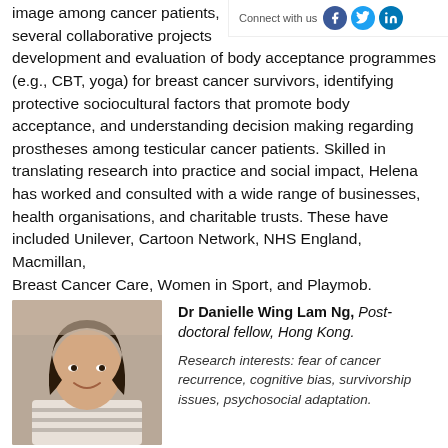image among cancer patients, several collaborative projects, development and evaluation of body acceptance programmes (e.g., CBT, yoga) for breast cancer survivors, identifying protective sociocultural factors that promote body acceptance, and understanding decision making regarding prostheses among testicular cancer patients. Skilled in translating research into practice and social impact, Helena has worked and consulted with a wide range of businesses, health organisations, and charitable trusts. These have included Unilever, Cartoon Network, NHS England, Macmillan, Breast Cancer Care, Women in Sport, and Playmob.
Connect with us
Dr Danielle Wing Lam Ng, Post-doctoral fellow, Hong Kong.
Research interests: fear of cancer recurrence, cognitive bias, survivorship issues, psychosocial adaptation.
[Figure (photo): Headshot photo of Dr Danielle Wing Lam Ng, a young woman with long dark hair, smiling, wearing a striped top, against a blurred indoor background.]